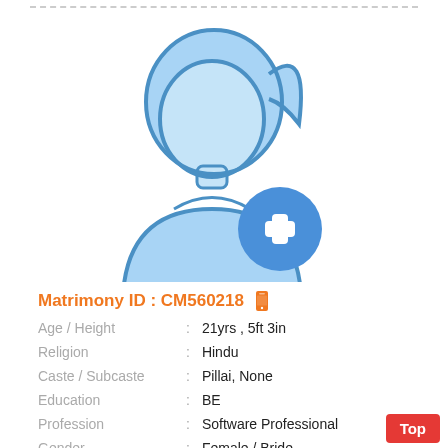[Figure (illustration): Female profile placeholder icon in blue with a circular blue add/plus button overlay at bottom right]
Matrimony ID : CM560218
Age / Height : 21yrs , 5ft 3in
Religion : Hindu
Caste / Subcaste : Pillai, None
Education : BE
Profession : Software Professional
Gender : Female / Bride
Star / Rasi : Kettai ,Viruchigam (Scorpio) ;
Language : Tamil
Location : Coimbatore
District : Coimbatore